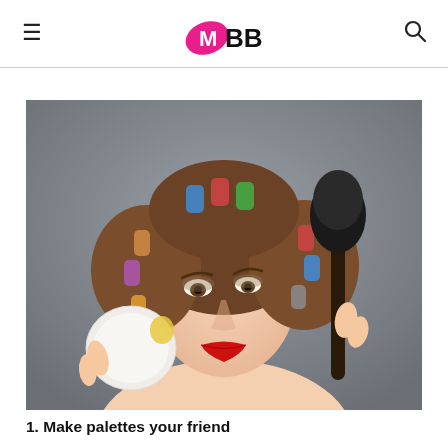IMBB (logo) with hamburger menu and search icon
[Figure (photo): A woman with hair curlers in her hair, wearing red lipstick, holding a white powder container in one hand and a large makeup brush in the other hand, against a grey background.]
1. Make palettes your friend